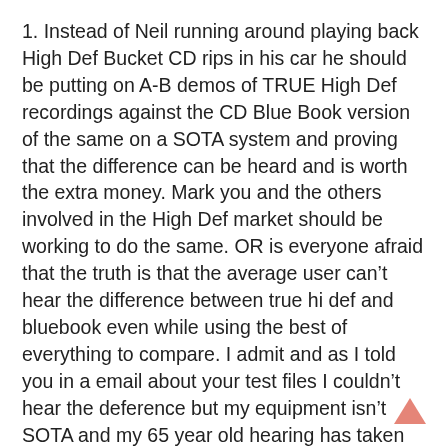1. Instead of Neil running around playing back High Def Bucket CD rips in his car he should be putting on A-B demos of TRUE High Def recordings against the CD Blue Book version of the same on a SOTA system and proving that the difference can be heard and is worth the extra money. Mark you and the others involved in the High Def market should be working to do the same. OR is everyone afraid that the truth is that the average user can't hear the difference between true hi def and bluebook even while using the best of everything to compare. I admit and as I told you in a email about your test files I couldn't hear the deference but my equipment isn't SOTA and my 65 year old hearing has taken it's lumps over the years so I'm no one to judge and forget about the rest of the BabyBoomer old guy audiophiles, their hearing is mostly shot now too. Bring in some young to